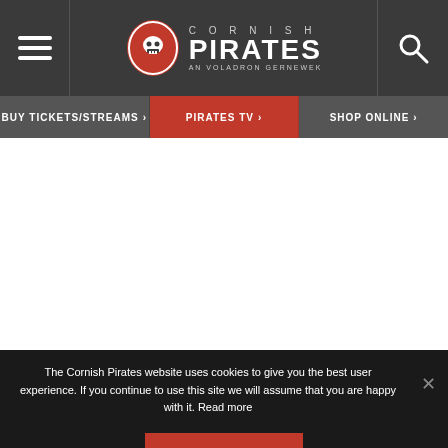Cornish Pirates — AN VOLADRON GERNEWEK
[Figure (logo): Cornish Pirates rugby team logo with skull emblem, text CORNISH PIRATES AN VOLADRON GERNEWEK]
BUY TICKETS/STREAMS > | PIRATES TV > | SHOP ONLINE >
The Cornish Pirates website uses cookies to give you the best user experience. If you continue to use this site we will assume that you are happy with it. Read more
ACCEPT